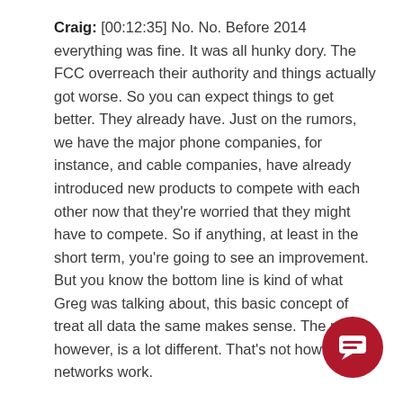Craig: [00:12:35] No. No. Before 2014 everything was fine. It was all hunky dory. The FCC overreach their authority and things actually got worse. So you can expect things to get better. They already have. Just on the rumors, we have the major phone companies, for instance, and cable companies, have already introduced new products to compete with each other now that they're worried that they might have to compete. So if anything, at least in the short term, you're going to see an improvement. But you know the bottom line is kind of what Greg was talking about, this basic concept of treat all data the same makes sense. The reality, however, is a lot different. That's not how networks work.
Greg: [00:13:22] And as far as blocking websites things like that even though it may not be happening now you don't think that's a concern from people that
[Figure (other): Red circular chat/message button icon in the bottom right corner]